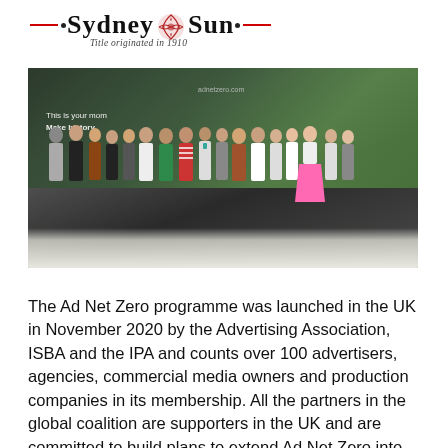Sydney Sun · Title originated in 1910
[Figure (photo): Group photo of approximately 20 people standing on a stage in front of a large screen displaying 'adnetzero.com' and green nature imagery. Text on screen reads 'This is your mom' and 'Make history'.]
The Ad Net Zero programme was launched in the UK in November 2020 by the Advertising Association, ISBA and the IPA and counts over 100 advertisers, agencies, commercial media owners and production companies in its membership. All the partners in the global coalition are supporters in the UK and are committed to build plans to extend Ad Net Zero into other major markets. The focus of